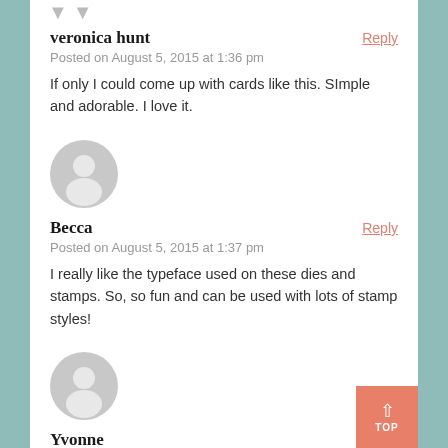veronica hunt — Posted on August 5, 2015 at 1:36 pm
If only I could come up with cards like this. SImple and adorable. I love it.
[Figure (illustration): Generic user avatar icon — gray circle with person silhouette]
Becca — Posted on August 5, 2015 at 1:37 pm
I really like the typeface used on these dies and stamps. So, so fun and can be used with lots of stamp styles!
[Figure (illustration): Generic user avatar icon — gray circle with person silhouette]
Yvonne — Posted on August 5, 2015 at 1:41 pm